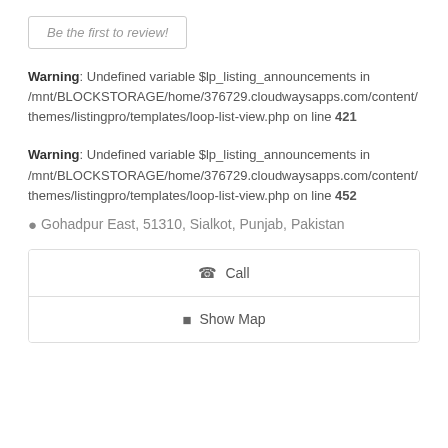Be the first to review!
Warning: Undefined variable $lp_listing_announcements in /mnt/BLOCKSTORAGE/home/376729.cloudwaysapps.com/content/themes/listingpro/templates/loop-list-view.php on line 421
Warning: Undefined variable $lp_listing_announcements in /mnt/BLOCKSTORAGE/home/376729.cloudwaysapps.com/content/themes/listingpro/templates/loop-list-view.php on line 452
Gohadpur East, 51310, Sialkot, Punjab, Pakistan
Call
Show Map